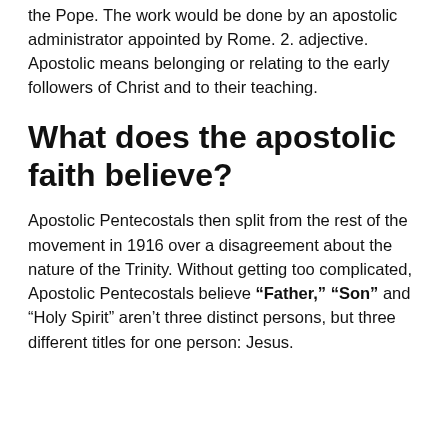the Pope. The work would be done by an apostolic administrator appointed by Rome. 2. adjective. Apostolic means belonging or relating to the early followers of Christ and to their teaching.
What does the apostolic faith believe?
Apostolic Pentecostals then split from the rest of the movement in 1916 over a disagreement about the nature of the Trinity. Without getting too complicated, Apostolic Pentecostals believe "Father," "Son" and "Holy Spirit" aren't three distinct persons, but three different titles for one person: Jesus.